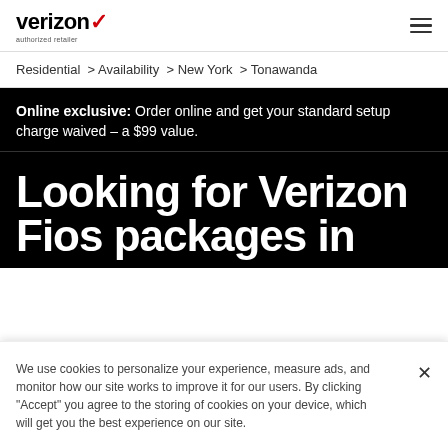verizon authorized retailer
Residential > Availability > New York > Tonawanda
Online exclusive: Order online and get your standard setup charge waived – a $99 value.
Looking for Verizon Fios packages in
We use cookies to personalize your experience, measure ads, and monitor how our site works to improve it for our users. By clicking "Accept" you agree to the storing of cookies on your device, which will get you the best experience on our site.